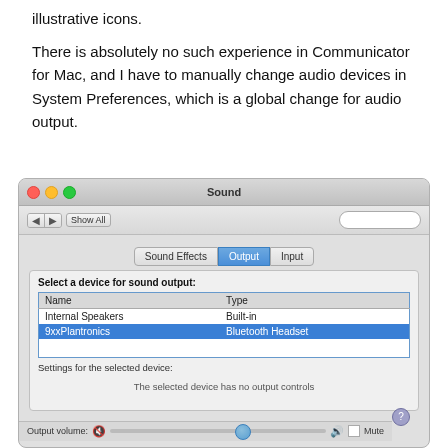illustrative icons.
There is absolutely no such experience in Communicator for Mac, and I have to manually change audio devices in System Preferences, which is a global change for audio output.
[Figure (screenshot): macOS Sound System Preferences panel showing the Output tab selected. A device list shows 'Internal Speakers' (Built-in) and '9xxPlantronics' (Bluetooth Headset, selected/highlighted in blue). Settings area shows 'The selected device has no output controls'. Bottom has an Output volume slider and Mute checkbox.]